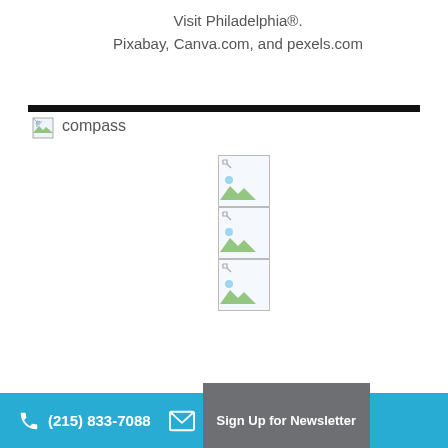Visit Philadelphia®.
Pixabay, Canva.com, and pexels.com
[Figure (illustration): Broken image placeholder with alt text 'compass' and three stacked broken image icons below it]
(215) 833-7088  Sign Up for Newsletter